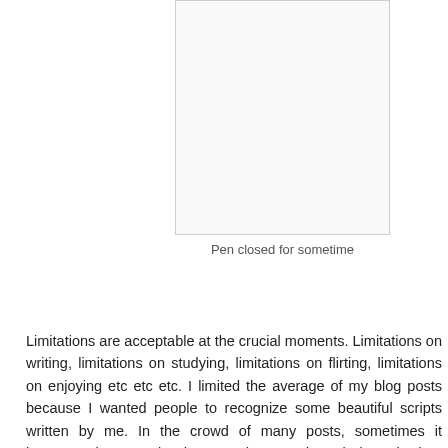[Figure (photo): Image of a pen closed for sometime — appears as a light gray/white rectangular image box]
Pen closed for sometime
Limitations are acceptable at the crucial moments. Limitations on writing, limitations on studying, limitations on flirting, limitations on enjoying etc etc etc. I limited the average of my blog posts because I wanted people to recognize some beautiful scripts written by me. In the crowd of many posts, sometimes it happens that people don't read a good work brought into existence by you. Now, the average blogs will be limited and rare in the month of December as my exams are starting from tomorrow i.e. 7th December. Its a big examination and a proof of my hard work in the last 4 months. I don't know which hard work will be tested by my beautiful college. Till today, I have enjoyed. Now, I have only 1 thing to do. Look at book, think about the day coming in few hours and its result after the question paper will be placed in front of me on the desk and think